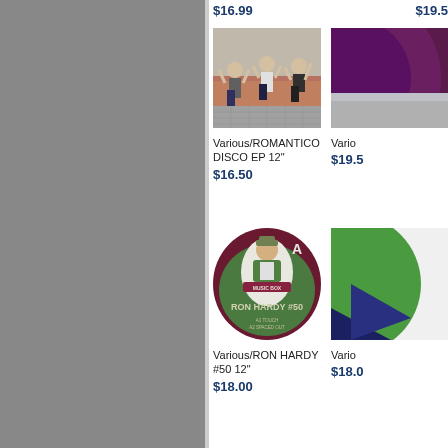$16.99
$19.5...
[Figure (photo): Three people dancing outdoors on a paved area in front of a brick building]
Various/ROMANTICO DISCO EP 12"
$16.50
[Figure (photo): Partial view of a record cover (dark purple/maroon), cut off on right side]
Vario...
$19.5...
[Figure (photo): Ron Hardy #50 12" vinyl record label. Maroon and green oval design with illustrated figure of Ron Hardy. Text: RON HARDY #50, MUSIC BOX, A1 TOUCH, A2 SPACED OUT]
Various/RON HARDY #50 12"
$18.00
[Figure (photo): Partial record or album cover with green and dark triangular design, cut off on right]
Vario...
$18.0...